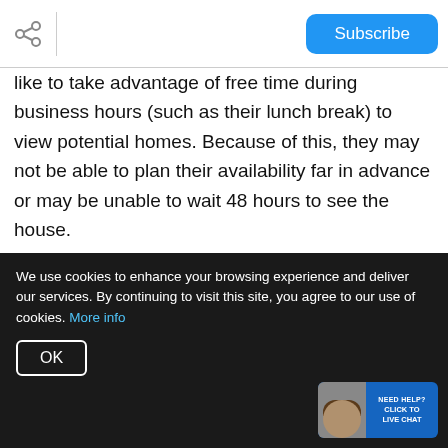Subscribe
like to take advantage of free time during business hours (such as their lunch break) to view potential homes. Because of this, they may not be able to plan their availability far in advance or may be unable to wait 48 hours to see the house.
5. Limited Access (example: the home is only available on Mondays or Tuesdays at 2pm or for only a couple of hours a day) - This is the
We use cookies to enhance your browsing experience and deliver our services. By continuing to visit this site, you agree to our use of cookies. More info
OK